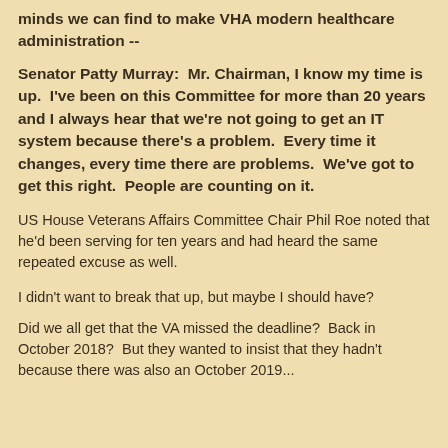minds we can find to make VHA modern healthcare administration --
Senator Patty Murray:  Mr. Chairman, I know my time is up.  I've been on this Committee for more than 20 years and I always hear that we're not going to get an IT system because there's a problem.  Every time it changes, every time there are problems.  We've got to get this right.  People are counting on it.
US House Veterans Affairs Committee Chair Phil Roe noted that he'd been serving for ten years and had heard the same repeated excuse as well.
I didn't want to break that up, but maybe I should have?
Did we all get that the VA missed the deadline?  Back in October 2018?  But they wanted to insist that they hadn't because there was also an October 2019...